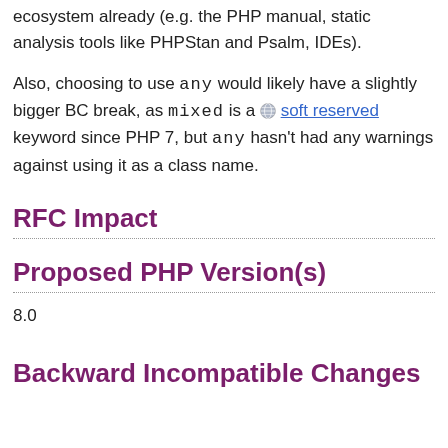ecosystem already (e.g. the PHP manual, static analysis tools like PHPStan and Psalm, IDEs).
Also, choosing to use any would likely have a slightly bigger BC break, as mixed is a 🌐 soft reserved keyword since PHP 7, but any hasn't had any warnings against using it as a class name.
RFC Impact
Proposed PHP Version(s)
8.0
Backward Incompatible Changes